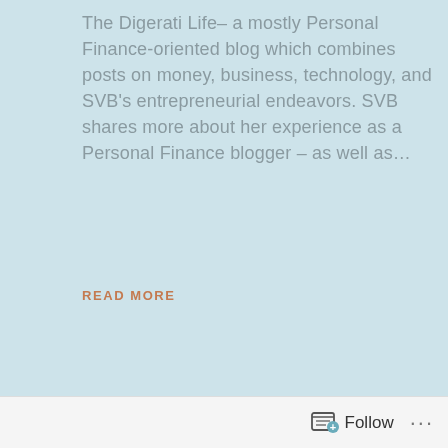The Digerati Life– a mostly Personal Finance-oriented blog which combines posts on money, business, technology, and SVB's entrepreneurial endeavors. SVB shares more about her experience as a Personal Finance blogger – as well as…
READ MORE
Follow ...